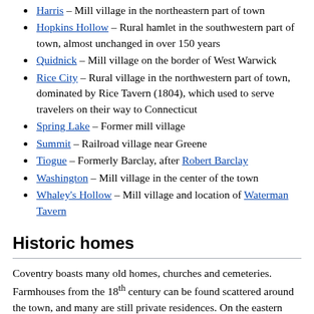Harris – Mill village in the northeastern part of town
Hopkins Hollow – Rural hamlet in the southwestern part of town, almost unchanged in over 150 years
Quidnick – Mill village on the border of West Warwick
Rice City – Rural village in the northwestern part of town, dominated by Rice Tavern (1804), which used to serve travelers on their way to Connecticut
Spring Lake – Former mill village
Summit – Railroad village near Greene
Tiogue – Formerly Barclay, after Robert Barclay
Washington – Mill village in the center of the town
Whaley's Hollow – Mill village and location of Waterman Tavern
Historic homes
Coventry boasts many old homes, churches and cemeteries. Farmhouses from the 18th century can be found scattered around the town, and many are still private residences. On the eastern side of town, many homes from the 19th century can be found, ranging from the two-family mill workers residence to mansions owned by the town elites. The village of Greene and the Rice City and Hopkins Hollow parts of town have remained unchanged since the 19th century. Also, many of the churches in Coventry date from the 19th century and are still functioning churches.